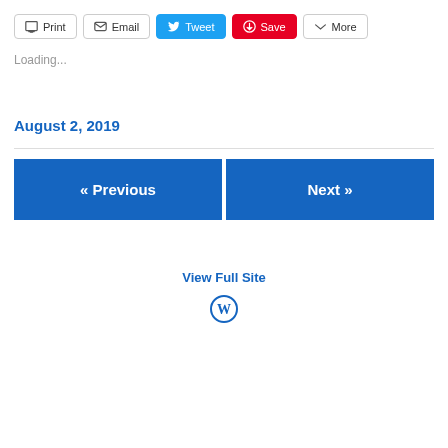[Figure (screenshot): Toolbar with Print, Email, Tweet, Save, More buttons]
Loading...
August 2, 2019
« Previous
Next »
View Full Site
[Figure (logo): WordPress logo]